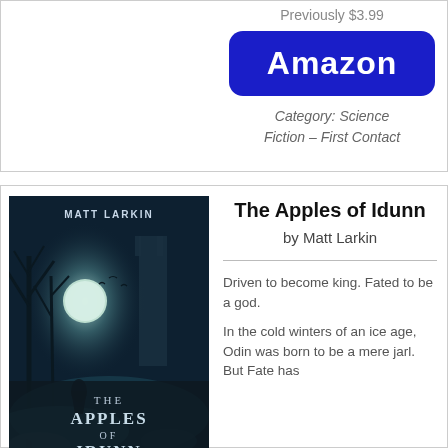Previously $3.99
[Figure (other): Amazon button - dark blue rounded rectangle with white 'Amazon' text]
Category: Science Fiction – First Contact
[Figure (illustration): Book cover of 'The Apples of Idunn' by Matt Larkin - dark fantasy cover with bare trees, moon, castle tower, and hooded figure in icy landscape]
The Apples of Idunn
by Matt Larkin
Driven to become king. Fated to be a god.
In the cold winters of an ice age, Odin was born to be a mere jarl. But Fate has